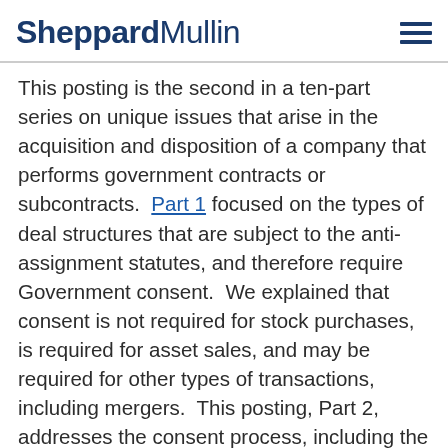SheppardMullin
This posting is the second in a ten-part series on unique issues that arise in the acquisition and disposition of a company that performs government contracts or subcontracts.  Part 1 focused on the types of deal structures that are subject to the anti-assignment statutes, and therefore require Government consent.  We explained that consent is not required for stock purchases, is required for asset sales, and may be required for other types of transactions, including mergers.  This posting, Part 2, addresses the consent process, including the who, what, when, and how of obtaining a novation agreement.  It also includes practical tips, based on our experience, for navigating the novation process